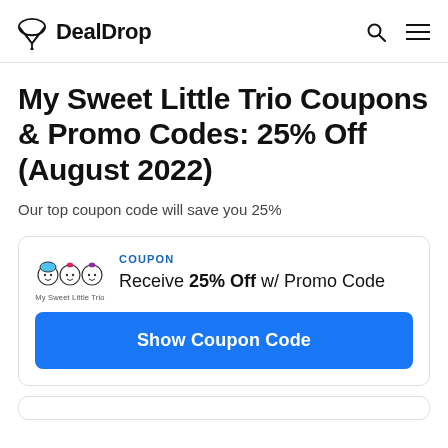DealDrop
My Sweet Little Trio Coupons & Promo Codes: 25% Off (August 2022)
Our top coupon code will save you 25%
COUPON
Receive 25% Off w/ Promo Code
Show Coupon Code